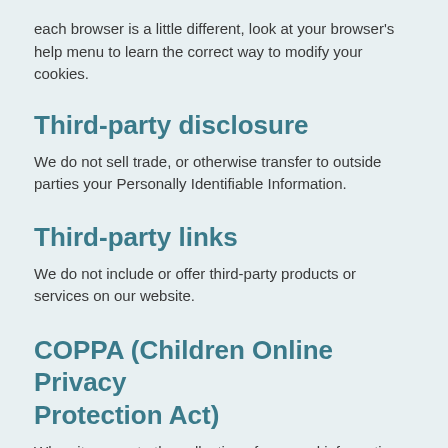each browser is a little different, look at your browser's help menu to learn the correct way to modify your cookies.
Third-party disclosure
We do not sell trade, or otherwise transfer to outside parties your Personally Identifiable Information.
Third-party links
We do not include or offer third-party products or services on our website.
COPPA (Children Online Privacy Protection Act)
When it comes to the collection of personal information from children under the age of 13 years old, the Children's Online Privacy Protection Act (COPPA) puts parents in control. The Federal Trade Commission, United States'